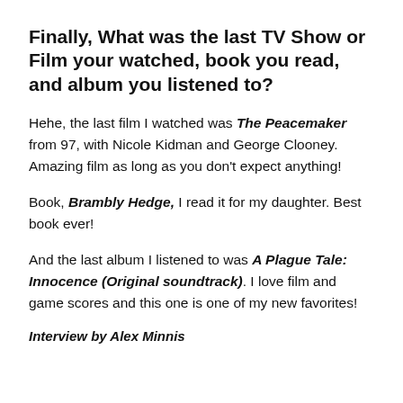Finally, What was the last TV Show or Film your watched, book you read, and album you listened to?
Hehe, the last film I watched was The Peacemaker from 97, with Nicole Kidman and George Clooney. Amazing film as long as you don't expect anything!
Book, Brambly Hedge, I read it for my daughter. Best book ever!
And the last album I listened to was A Plague Tale: Innocence (Original soundtrack). I love film and game scores and this one is one of my new favorites!
Interview by Alex Minnis